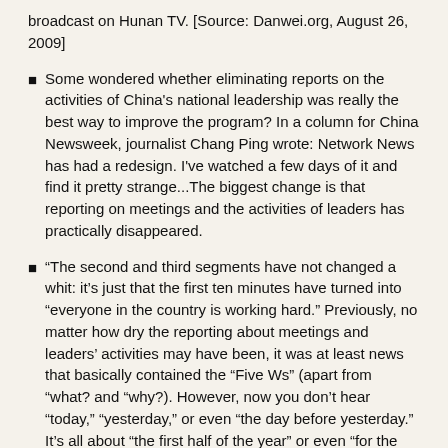broadcast on Hunan TV. [Source: Danwei.org, August 26, 2009]
Some wondered whether eliminating reports on the activities of China's national leadership was really the best way to improve the program? In a column for China Newsweek, journalist Chang Ping wrote: Network News has had a redesign. I've watched a few days of it and find it pretty strange...The biggest change is that reporting on meetings and the activities of leaders has practically disappeared.
“The second and third segments have not changed a whit: it’s just that the first ten minutes have turned into “everyone in the country is working hard.” Previously, no matter how dry the reporting about meetings and leaders’ activities may have been, it was at least news that basically contained the “Five Ws” (apart from “what? and “why?). However, now you don’t hear “today,” “yesterday,” or even “the day before yesterday.” It’s all about “the first half of the year” or even “for the past few years.” Compared to moving news how “the country’s great efforts to broaden areas and channels for private investment” “extols and demonstrates the new fighting force,” we’d be better off seeing what the leaders have been busy doing, and then recognizing how much has been lost at the Great Wall of the